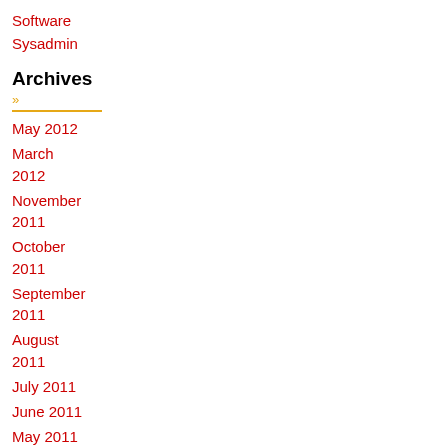Software
Sysadmin
Archives »
May 2012
March 2012
November 2011
October 2011
September 2011
August 2011
July 2011
June 2011
May 2011
April 2011
March